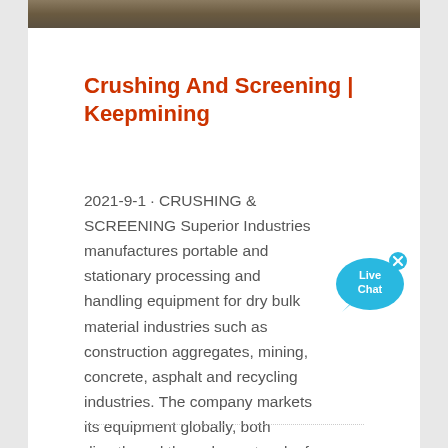[Figure (photo): Photo strip at top showing mining/crushing equipment site]
Crushing And Screening | Keepmining
2021-9-1 · CRUSHING & SCREENING Superior Industries manufactures portable and stationary processing and handling equipment for dry bulk material industries such as construction aggregates, mining, concrete, asphalt and recycling industries. The company markets its equipment globally, both directly and through a network of dealers. Superior manufactures equipment for crushing, screening, ...
[Figure (illustration): Live Chat speech bubble button in cyan/blue color with 'Live Chat' text and an x close button]